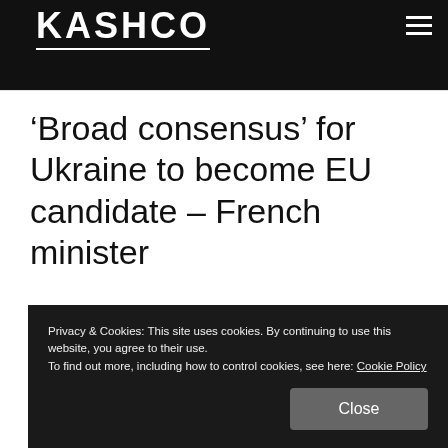KASHCO
'Broad consensus' for Ukraine to become EU candidate – French minister
Privacy & Cookies: This site uses cookies. By continuing to use this website, you agree to their use.
To find out more, including how to control cookies, see here: Cookie Policy